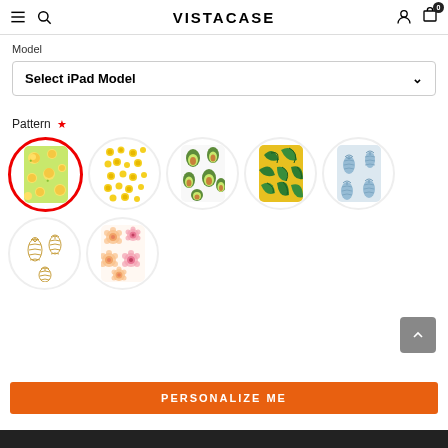VISTACASE
Model
Select iPad Model
Pattern *
[Figure (screenshot): Grid of 7 iPad case pattern options displayed as circular thumbnails. First (selected, red border): yellow/green lemon pattern. Second: small yellow dots pattern. Third: avocado pattern on white. Fourth: tropical green/yellow leaves. Fifth: blue/white pineapple. Sixth: white/gold pineapple outline pattern. Seventh: peach/pink floral pattern.]
PERSONALIZE ME